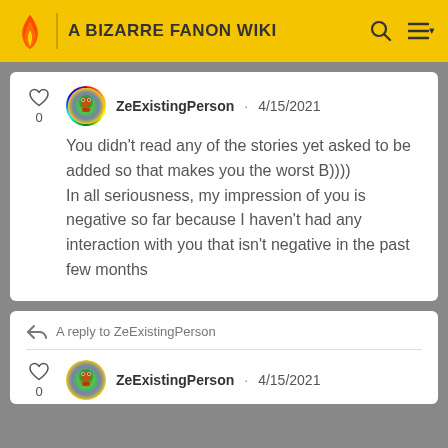A BIZARRE FANON WIKI
ZeExistingPerson · 4/15/2021
You didn't read any of the stories yet asked to be added so that makes you the worst B))))
In all seriousness, my impression of you is negative so far because I haven't had any interaction with you that isn't negative in the past few months
A reply to ZeExistingPerson
ZeExistingPerson · 4/15/2021